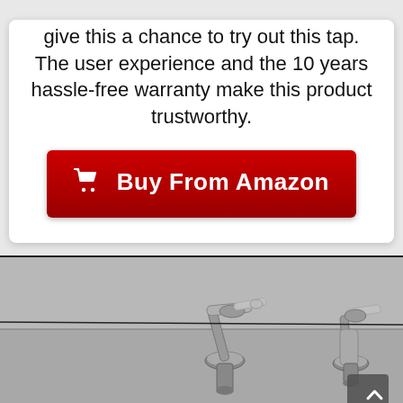give this a chance to try out this tap. The user experience and the 10 years hassle-free warranty make this product trustworthy.
[Figure (other): Red 'Buy From Amazon' button with shopping cart icon]
[Figure (photo): Black and white photograph of chrome bathroom faucet taps mounted on a wall]